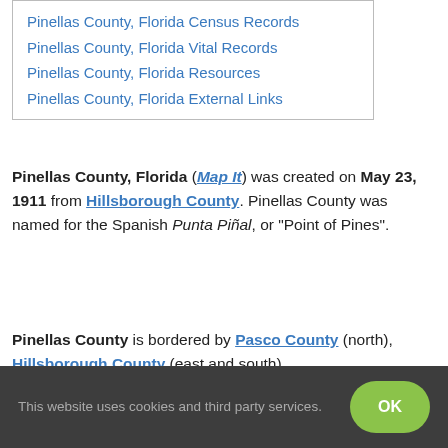Pinellas County, Florida Census Records
Pinellas County, Florida Vital Records
Pinellas County, Florida Resources
Pinellas County, Florida External Links
Pinellas County, Florida (Map It) was created on May 23, 1911 from Hillsborough County. Pinellas County was named for the Spanish Punta Piñal, or "Point of Pines".
Pinellas County is bordered by Pasco County (north), Hillsborough County (east and south).
This website uses cookies and third party services.